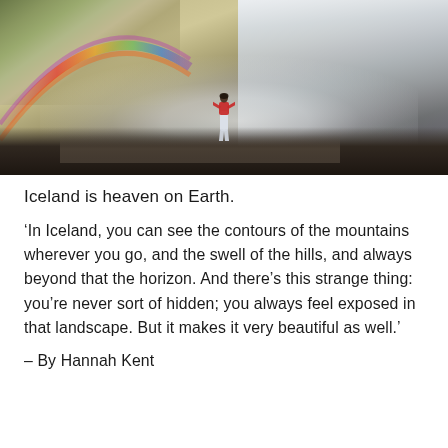[Figure (photo): A person standing with arms outstretched in front of a large waterfall, with a rainbow visible to the left. The scene is misty and dramatic, with dark rocky ground in the foreground.]
Iceland is heaven on Earth.
‘In Iceland, you can see the contours of the mountains wherever you go, and the swell of the hills, and always beyond that the horizon. And there’s this strange thing: you’re never sort of hidden; you always feel exposed in that landscape. But it makes it very beautiful as well.’
– By Hannah Kent